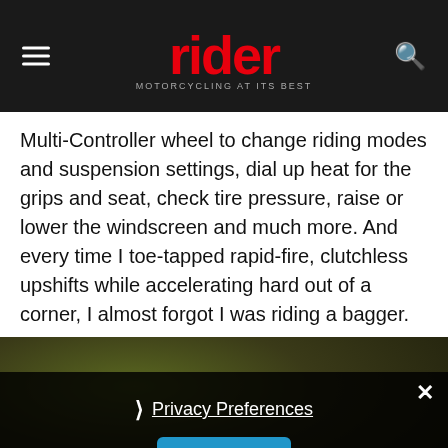rider – MOTORCYCLING AT ITS BEST
Multi-Controller wheel to change riding modes and suspension settings, dial up heat for the grips and seat, check tire pressure, raise or lower the windscreen and much more. And every time I toe-tapped rapid-fire, clutchless upshifts while accelerating hard out of a corner, I almost forgot I was riding a bagger.
[Figure (photo): Partially visible outdoor photo with dark semi-transparent overlay containing a Privacy Preferences dialog with a close button (×), a chevron and 'Privacy Preferences' underlined link, and an 'I Agree' blue button, plus a reCAPTCHA badge in the lower right.]